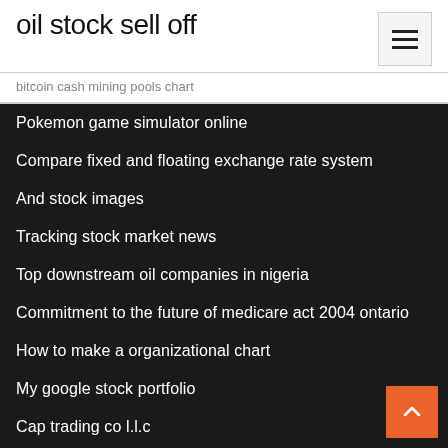oil stock sell off
bitcoin cash mining pools chart
Pokemon game simulator online
Compare fixed and floating exchange rate system
And stock images
Tracking stock market news
Top downstream oil companies in nigeria
Commitment to the future of medicare act 2004 ontario
How to make a organizational chart
My google stock portfolio
Cap trading co l.l.c
Best time to buy stock after ipo